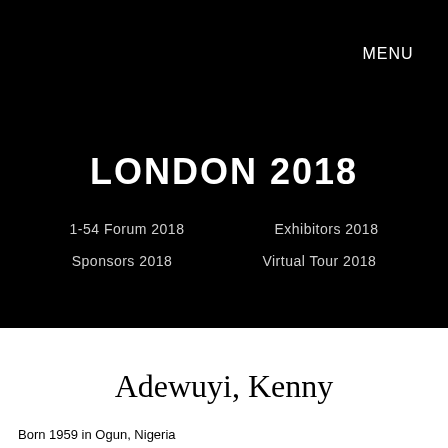1
54
MENU
LONDON 2018
1-54 Forum 2018
Exhibitors 2018
Sponsors 2018
Virtual Tour 2018
Adewuyi, Kenny
Born 1959 in Ogun, Nigeria
Lives and works between Ota, Nigeria and New York...